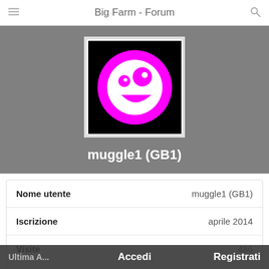Big Farm - Forum
[Figure (illustration): User avatar: black square background with large magenta circle containing a white smiley face with asymmetric eyes and a curved smile, in a cartoon style.]
muggle1 (GB1)
|  |  |
| --- | --- |
| Nome utente | muggle1 (GB1) |
| Iscrizione | aprile 2014 |
| Visite | 486 |
| Ultima A... | 5 gennaio |
Accedi   Registrati